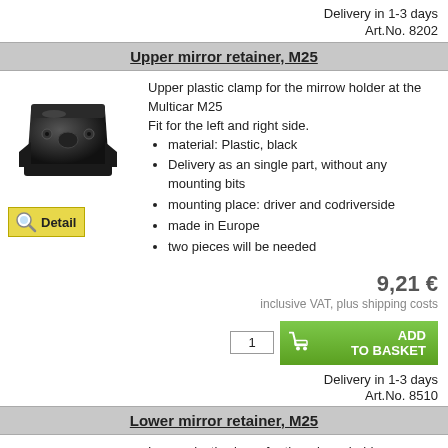Delivery in 1-3 days
Art.No. 8202
Upper mirror retainer, M25
[Figure (photo): Black plastic upper mirror retainer clamp for Multicar M25]
Upper plastic clamp for the mirrow holder at the Multicar M25
Fit for the left and right side.
material: Plastic, black
Delivery as an single part, without any mounting bits
mounting place: driver and codriverside
made in Europe
two pieces will be needed
9,21 €
inclusive VAT, plus shipping costs
1
ADD TO BASKET
Delivery in 1-3 days
Art.No. 8510
Lower mirror retainer, M25
Lower plastic clamp for the mirrow holder at the Multicar M25